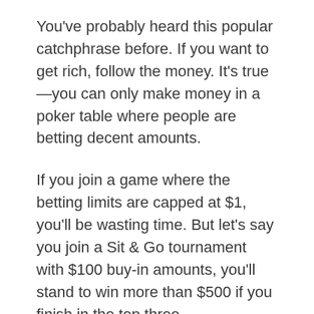You've probably heard this popular catchphrase before. If you want to get rich, follow the money. It's true—you can only make money in a poker table where people are betting decent amounts.
If you join a game where the betting limits are capped at $1, you'll be wasting time. But let's say you join a Sit & Go tournament with $100 buy-in amounts, you'll stand to win more than $500 if you finish in the top three.
Now, you shouldn't follow the money blindly. Create a poker budget. Determine how much you can afford to gamble. This way, you won't risk ruining your finances in the name of